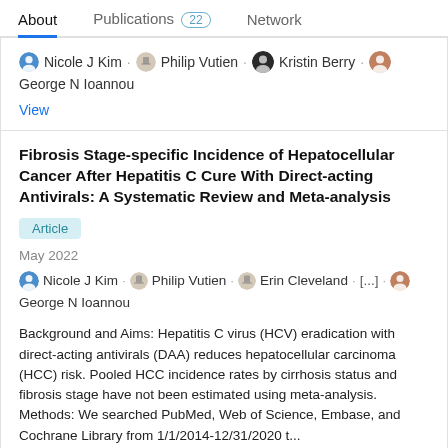About  Publications 22  Network
Nicole J Kim · Philip Vutien · Kristin Berry · George N Ioannou
View
Fibrosis Stage-specific Incidence of Hepatocellular Cancer After Hepatitis C Cure With Direct-acting Antivirals: A Systematic Review and Meta-analysis
Article
May 2022
Nicole J Kim · Philip Vutien · Erin Cleveland · [...] · George N Ioannou
Background and Aims: Hepatitis C virus (HCV) eradication with direct-acting antivirals (DAA) reduces hepatocellular carcinoma (HCC) risk. Pooled HCC incidence rates by cirrhosis status and fibrosis stage have not been estimated using meta-analysis. Methods: We searched PubMed, Web of Science, Embase, and Cochrane Library from 1/1/2014-12/31/2020 t...